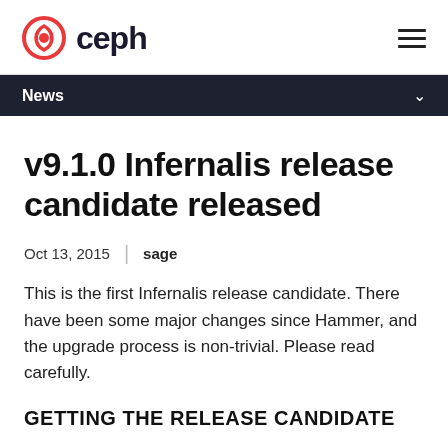ceph
News
v9.1.0 Infernalis release candidate released
Oct 13, 2015  sage
This is the first Infernalis release candidate. There have been some major changes since Hammer, and the upgrade process is non-trivial. Please read carefully.
GETTING THE RELEASE CANDIDATE